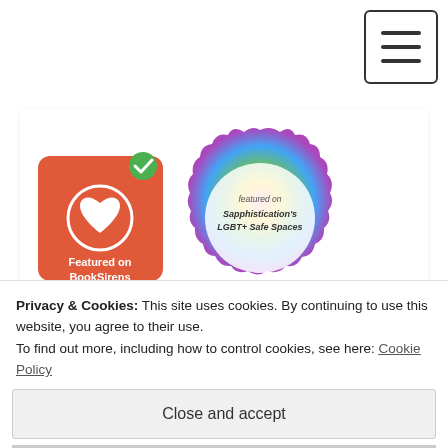[Figure (screenshot): Hamburger menu icon button in top-right corner]
[Figure (logo): Featured on BookSirens badge - red square with heart icon and checkmark]
[Figure (logo): Sapphist safe spaces LGBT+ rainbow circular badge with text 'featured on Sapphistication's LGBT+ Safe Spaces']
[Figure (illustration): Pink background with gray star and book pattern]
UPCOMING BLOG TOURS, BLITZES, BOOK PROMOS, COVER REVEALS, AND MORE.
Privacy & Cookies: This site uses cookies. By continuing to use this website, you agree to their use.
To find out more, including how to control cookies, see here: Cookie Policy
Close and accept